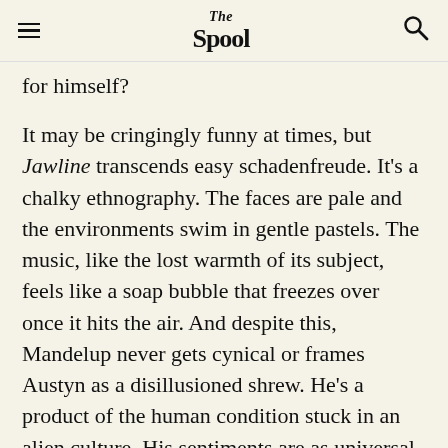The Spool
for himself?
It may be cringingly funny at times, but Jawline transcends easy schadenfreude. It’s a chalky ethnography. The faces are pale and the environments swim in gentle pastels. The music, like the lost warmth of its subject, feels like a soap bubble that freezes over once it hits the air. And despite this, Mandelup never gets cynical or frames Austyn as a disillusioned shrew. He’s a product of the human condition stuck in an alien culture. His sentiments are as universal as they are impractical—as probable as they